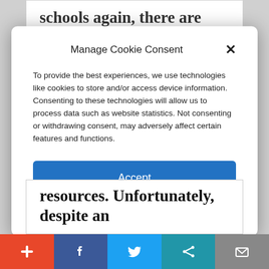schools again, there are few official projections about American schools opening fully in the fall. When schools
Manage Cookie Consent
To provide the best experiences, we use technologies like cookies to store and/or access device information. Consenting to these technologies will allow us to process data such as website statistics. Not consenting or withdrawing consent, may adversely affect certain features and functions.
Accept
Cookie Policy   Privacy Policy
resources. Unfortunately, despite an